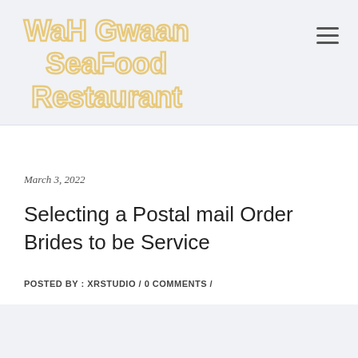WaH Gwaan SeaFood Restaurant
March 3, 2022
Selecting a Postal mail Order Brides to be Service
POSTED BY : XRSTUDIO / 0 COMMENTS /